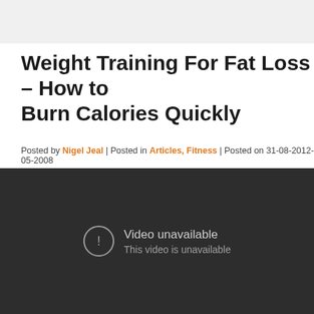Weight Training For Fat Loss – How to Burn Calories Quickly
Posted by Nigel Jeal | Posted in Articles, Fitness | Posted on 31-08-2012-05-2008
[Figure (screenshot): Embedded video player showing 'Video unavailable' message with an exclamation icon and text 'This video is unavailable' on a dark background.]